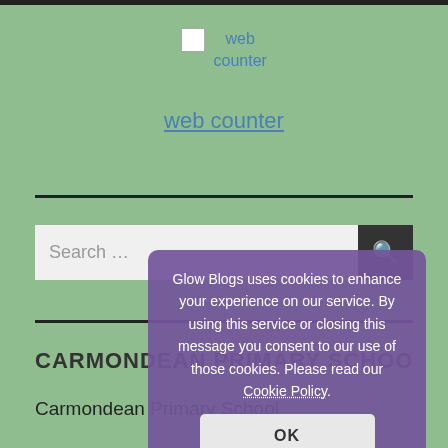[Figure (screenshot): Broken image placeholder for web counter]
web counter
web counter (link)
Search ...
Glow Blogs uses cookies to enhance your experience on our service. By using this service or closing this message you consent to our use of those cookies. Please read our Cookie Policy.
OK
CARMONDEAN PRIMARY SCHOOL
Carmondean Primary School